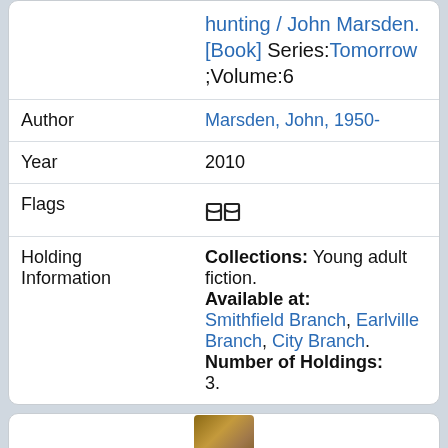| Field | Value |
| --- | --- |
|  | hunting / John Marsden. [Book] Series:Tomorrow ;Volume:6 |
| Author | Marsden, John, 1950- |
| Year | 2010 |
| Flags | [book icon] |
| Holding Information | Collections: Young adult fiction. Available at: Smithfield Branch, Earlville Branch, City Branch. Number of Holdings: 3. |